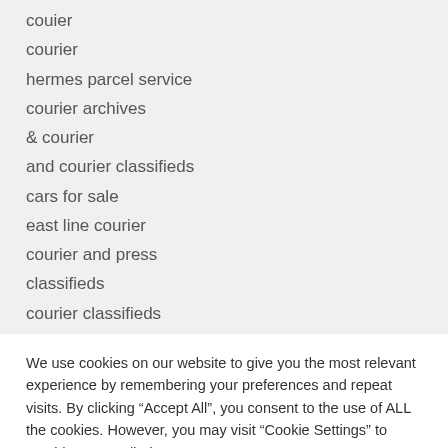couier
courier
hermes parcel service
courier archives
& courier
and courier classifieds
cars for sale
east line courier
courier and press
classifieds
courier classifieds
We use cookies on our website to give you the most relevant experience by remembering your preferences and repeat visits. By clicking “Accept All”, you consent to the use of ALL the cookies. However, you may visit “Cookie Settings” to provide a controlled consent.